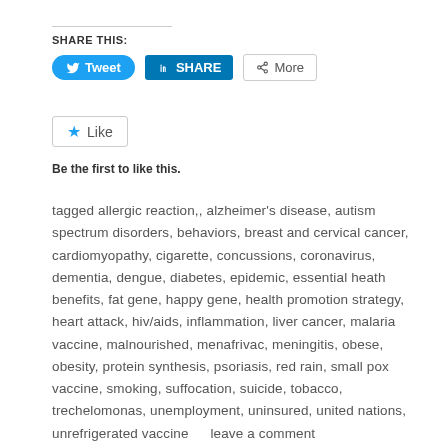SHARE THIS:
[Figure (screenshot): Social sharing buttons: Tweet (Twitter, blue pill button), SHARE (LinkedIn, blue square button), More (grey outlined button)]
[Figure (screenshot): Like button with blue star icon and text 'Like']
Be the first to like this.
tagged allergic reaction,, alzheimer's disease, autism spectrum disorders, behaviors, breast and cervical cancer, cardiomyopathy, cigarette, concussions, coronavirus, dementia, dengue, diabetes, epidemic, essential heath benefits, fat gene, happy gene, health promotion strategy, heart attack, hiv/aids, inflammation, liver cancer, malaria vaccine, malnourished, menafrivac, meningitis, obese, obesity, protein synthesis, psoriasis, red rain, small pox vaccine, smoking, suffocation, suicide, tobacco, trechelomonas, unemployment, uninsured, united nations, unrefrigerated vaccine     leave a comment